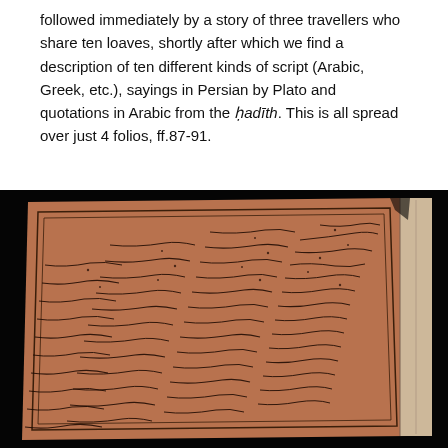followed immediately by a story of three travellers who share ten loaves, shortly after which we find a description of ten different kinds of script (Arabic, Greek, etc.), sayings in Persian by Plato and quotations in Arabic from the ḥadīth. This is all spread over just 4 folios, ff.87-91.
[Figure (photo): Photograph of an open manuscript page showing Arabic/Persian calligraphic script in black ink on a reddish-brown paper. The page has a dark border frame and shows multiple columns of diagonal cursive script. The manuscript is photographed against a black background, with the spine and right edge visible showing aged paper.]